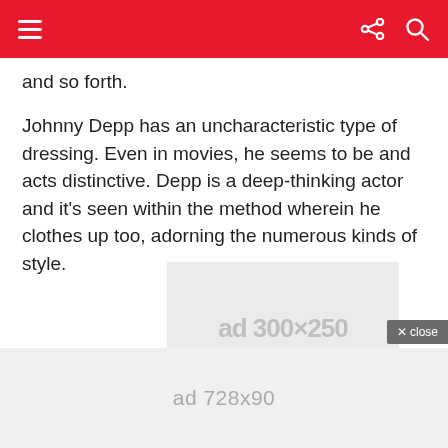navigation bar with menu, share, and search icons
and so forth.
Johnny Depp has an uncharacteristic type of dressing. Even in movies, he seems to be and acts distinctive. Depp is a deep-thinking actor and it's seen within the method wherein he clothes up too, adorning the numerous kinds of style.
[Figure (other): Advertisement placeholder showing ad 300x250 with close button]
[Figure (other): Advertisement banner placeholder showing ad 728x90]